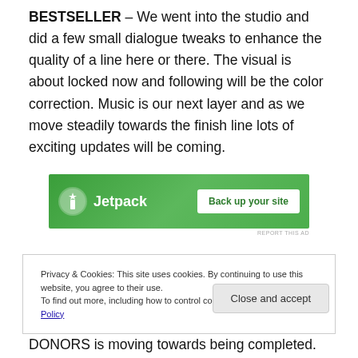BESTSELLER – We went into the studio and did a few small dialogue tweaks to enhance the quality of a line here or there. The visual is about locked now and following will be the color correction. Music is our next layer and as we move steadily towards the finish line lots of exciting updates will be coming.
[Figure (other): Jetpack advertisement banner with green background showing Jetpack logo and 'Back up your site' button]
Privacy & Cookies: This site uses cookies. By continuing to use this website, you agree to their use.
To find out more, including how to control cookies, see here: Cookie Policy
Close and accept
DONORS is moving towards being completed.